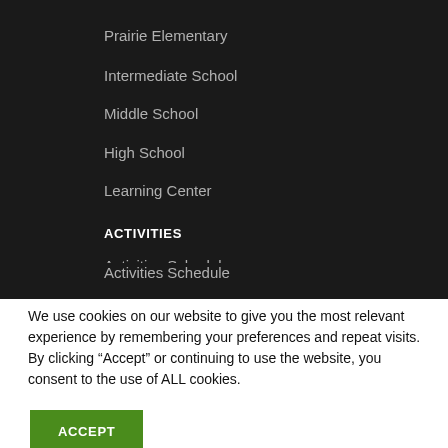Prairie Elementary
Intermediate School
Middle School
High School
Learning Center
ACTIVITIES
Activities Schedule
Athletics
Clubs/Organizations
We use cookies on our website to give you the most relevant experience by remembering your preferences and repeat visits. By clicking “Accept” or continuing to use the website, you consent to the use of ALL cookies.
ACCEPT